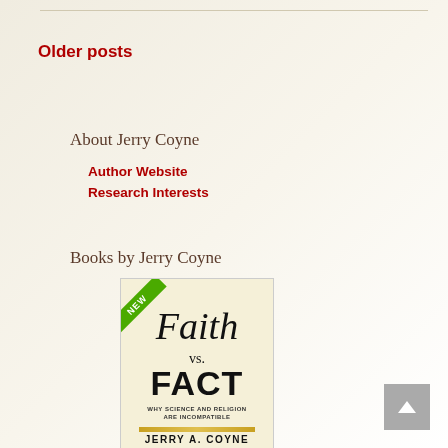Older posts
About Jerry Coyne
Author Website
Research Interests
Books by Jerry Coyne
[Figure (illustration): Book cover of 'Faith vs. Fact: Why Science and Religion Are Incompatible' by Jerry A. Coyne, with a green 'NEW' ribbon banner in the top left corner.]